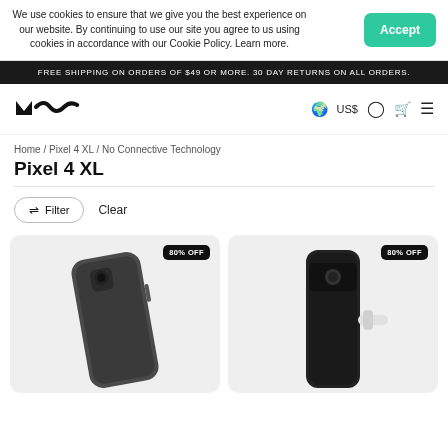We use cookies to ensure that we give you the best experience on our website. By continuing to use our site you agree to us using cookies in accordance with our Cookie Policy. Learn more.
Accept
FREE SHIPPING ON ORDERS OF $49 OR MORE. 30 DAY RETURNS ON ALL ORDERS.
[Figure (logo): Mous brand logo in black]
🌍 US$
Home / Pixel 4 XL / No Connective Technology
Pixel 4 XL
Filter  Clear
[Figure (photo): Pixel 4 XL phone case product image, 80% OFF badge]
[Figure (photo): Pixel 4 XL phone case product image, 80% OFF badge]